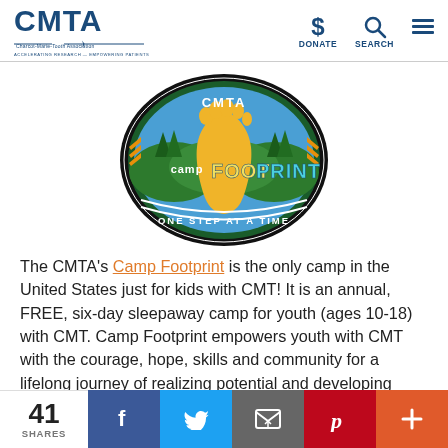CMTA — Charcot-Marie-Tooth Association | DONATE | SEARCH
[Figure (logo): CMTA Camp Footprint oval logo with footprint graphic and text 'CAMP FOOT PRINT — ONE STEP AT A TIME']
The CMTA's Camp Footprint is the only camp in the United States just for kids with CMT! It is an annual, FREE, six-day sleepaway camp for youth (ages 10-18) with CMT. Camp Footprint empowers youth with CMT with the courage, hope, skills and community for a lifelong journey of realizing potential and developing strengths.
41 SHARES | Facebook | Twitter | Email | Pinterest | +